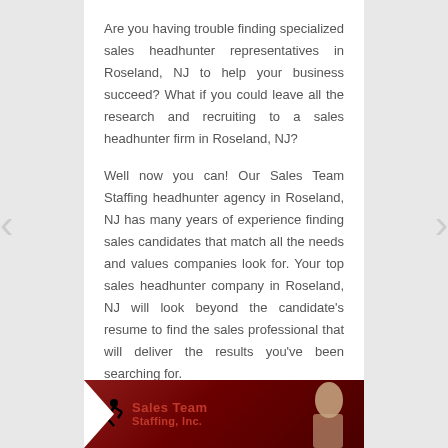Are you having trouble finding specialized sales headhunter representatives in Roseland, NJ to help your business succeed? What if you could leave all the research and recruiting to a sales headhunter firm in Roseland, NJ?
Well now you can! Our Sales Team Staffing headhunter agency in Roseland, NJ has many years of experience finding sales candidates that match all the needs and values companies look for. Your top sales headhunter company in Roseland, NJ will look beyond the candidate's resume to find the sales professional that will deliver the results you've been searching for.
[Figure (logo): Sales Team Staffing, Inc. banner with runner logo and a person in the background on a dark red gradient background]